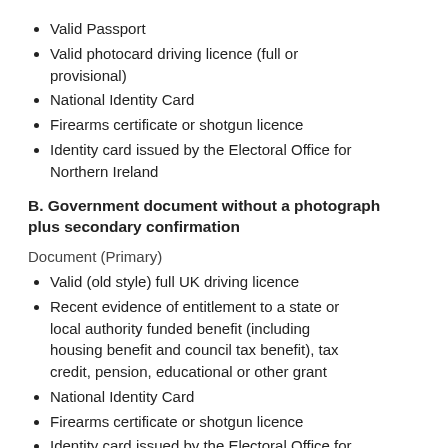Valid Passport
Valid photocard driving licence (full or provisional)
National Identity Card
Firearms certificate or shotgun licence
Identity card issued by the Electoral Office for Northern Ireland
B. Government document without a photograph plus secondary confirmation
Document (Primary)
Valid (old style) full UK driving licence
Recent evidence of entitlement to a state or local authority funded benefit (including housing benefit and council tax benefit), tax credit, pension, educational or other grant
National Identity Card
Firearms certificate or shotgun licence
Identity card issued by the Electoral Office for Northern Ireland
Document (Secondary)